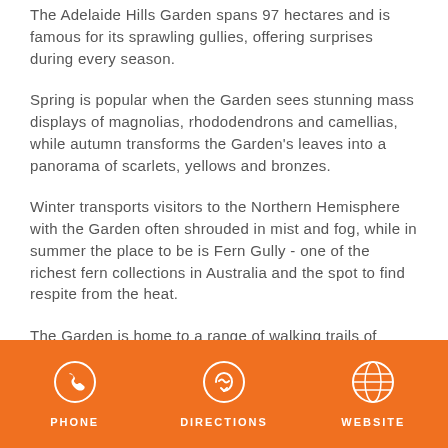The Adelaide Hills Garden spans 97 hectares and is famous for its sprawling gullies, offering surprises during every season.
Spring is popular when the Garden sees stunning mass displays of magnolias, rhododendrons and camellias, while autumn transforms the Garden's leaves into a panorama of scarlets, yellows and bronzes.
Winter transports visitors to the Northern Hemisphere with the Garden often shrouded in mist and fog, while in summer the place to be is Fern Gully - one of the richest fern collections in Australia and the spot to find respite from the heat.
The Garden is home to a range of walking trails of varying difficulty. The Nature Trail offers a glimpse of the native flora that would've
PHONE  DIRECTIONS  WEBSITE